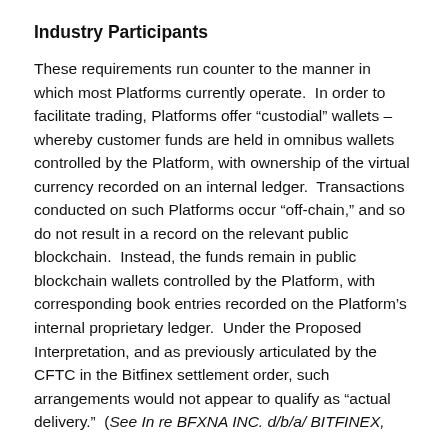Industry Participants
These requirements run counter to the manner in which most Platforms currently operate.  In order to facilitate trading, Platforms offer “custodial” wallets – whereby customer funds are held in omnibus wallets controlled by the Platform, with ownership of the virtual currency recorded on an internal ledger.  Transactions conducted on such Platforms occur “off-chain,” and so do not result in a record on the relevant public blockchain.  Instead, the funds remain in public blockchain wallets controlled by the Platform, with corresponding book entries recorded on the Platform’s internal proprietary ledger.  Under the Proposed Interpretation, and as previously articulated by the CFTC in the Bitfinex settlement order, such arrangements would not appear to qualify as “actual delivery.”  (See In re BFXNA INC. d/b/a/ BITFINEX,